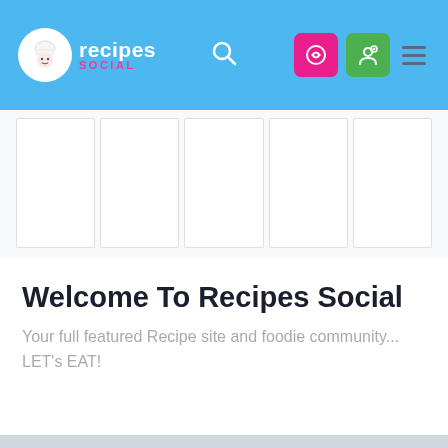recipes social - navigation bar with logo, search, login and menu icons
[Figure (screenshot): A 5-column image grid with empty white cells and light borders, representing recipe image placeholders]
Welcome To Recipes Social
Your full featured Recipe site and foodie community... LET's EAT!